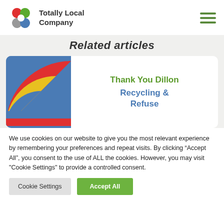[Figure (logo): Totally Local Company logo: colorful flower-like shape with red, green, grey, blue petals, next to text 'Totally Local Company']
[Figure (illustration): Hamburger menu icon with three green horizontal lines]
Related articles
[Figure (illustration): Colorful arc/rainbow illustration on blue background — article thumbnail]
Thank You Dillon Recycling & Refuse
We use cookies on our website to give you the most relevant experience by remembering your preferences and repeat visits. By clicking "Accept All", you consent to the use of ALL the cookies. However, you may visit "Cookie Settings" to provide a controlled consent.
Cookie Settings | Accept All